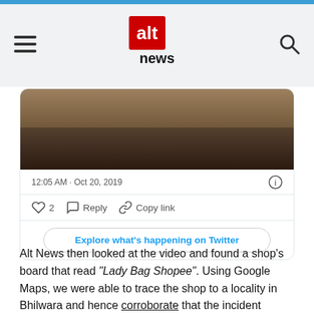Alt News
[Figure (screenshot): Alt News website navigation header with hamburger menu on left, Alt News logo in center, and search icon on right]
[Figure (screenshot): Embedded tweet card showing a dark image of people, timestamp 12:05 AM · Oct 20, 2019, like count of 2, Reply and Copy link actions, and Explore what's happening on Twitter button]
Alt News then looked at the video and found a shop's board that read "Lady Bag Shopee". Using Google Maps, we were able to trace the shop to a locality in Bhilwara and hence corroborate that the incident indeed took place in Azad Chowk, Bhilwara.